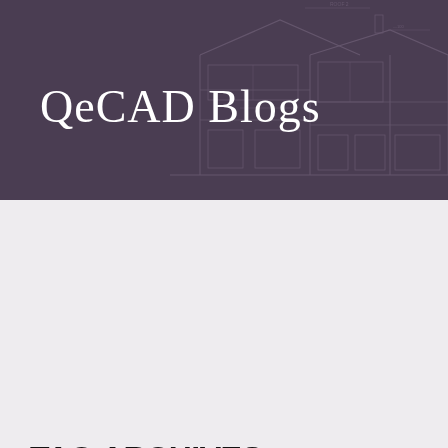[Figure (illustration): QeCAD Blogs header banner with a dark purple background overlaid with a technical architectural elevation drawing of a two-storey house showing windows, roof lines, and structural details in slightly lighter purple lines.]
QeCAD Blogs
TAG ARCHIVES: ARCHITECTURE AND TWITTER